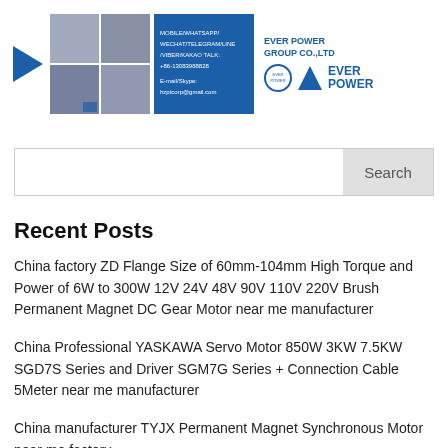[Figure (logo): Ever Power Group Co., Ltd company banner with factory photos, contact information (mobile/WhatsApp/WeChat/Telegram/Line/Viber/KakaoTalk, +86-13083988828, E-mail/Skype: hzptcorp@gmail.com), blue triangle logo and EVER POWER text]
Search
Recent Posts
China factory ZD Flange Size of 60mm-104mm High Torque and Power of 6W to 300W 12V 24V 48V 90V 110V 220V Brush Permanent Magnet DC Gear Motor near me manufacturer
China Professional YASKAWA Servo Motor 850W 3KW 7.5KW SGD7S Series and Driver SGM7G Series + Connection Cable 5Meter near me manufacturer
China manufacturer TYJX Permanent Magnet Synchronous Motor near me factory